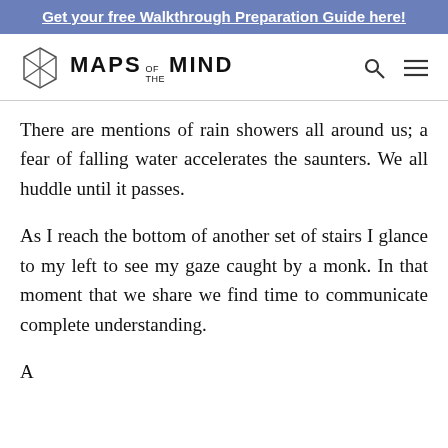Get your free Walkthrough Preparation Guide here!
[Figure (logo): Maps of the Mind logo with hexagon icon and search/menu icons]
There are mentions of rain showers all around us; a fear of falling water accelerates the saunters. We all huddle until it passes.
As I reach the bottom of another set of stairs I glance to my left to see my gaze caught by a monk. In that moment that we share we find time to communicate complete understanding.
A piece not done yet...